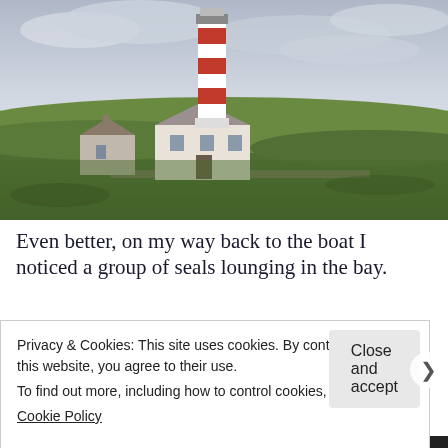[Figure (photo): Photograph of a red-and-white striped lighthouse on a grassy headland with stone buildings beside it, under an overcast sky.]
Even better, on my way back to the boat I noticed a group of seals lounging in the bay. They were playing and looking at us the whole...
Privacy & Cookies: This site uses cookies. By continuing to use this website, you agree to their use.
To find out more, including how to control cookies, see here:
Cookie Policy
Close and accept